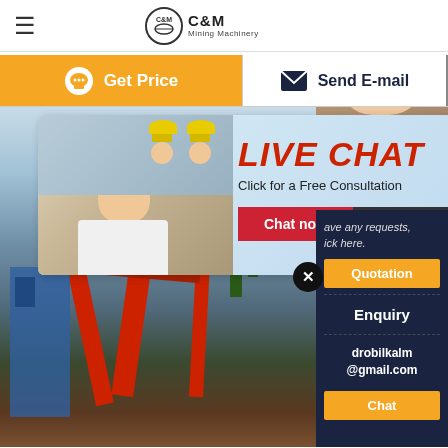C&M Mining Machinery
Get Price
Send E-mail
[Figure (screenshot): Live chat popup overlay showing workers in hard hats with LIVE CHAT heading in red italic text, subtitle 'Click for a Free Consultation', Chat now and Chat later buttons, overlaid on industrial machinery background image]
LIVE CHAT
Click for a Free Consultation
Chat now
Chat later
[Figure (photo): Woman with headset smiling, customer service representative, on dark navy blue background panel on right side]
ave any requests,
ick here.
Quotation
Enquiry
drobilkalm@gmail.com
Chat